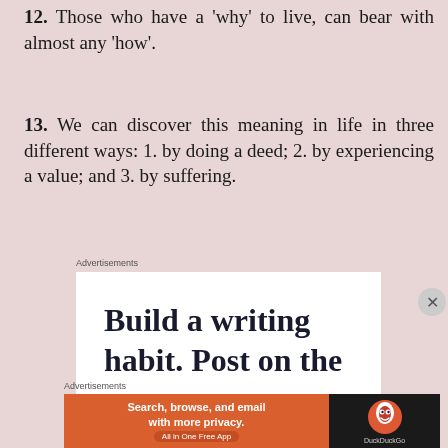12. Those who have a 'why' to live, can bear with almost any 'how'.
13. We can discover this meaning in life in three different ways: 1. by doing a deed; 2. by experiencing a value; and 3. by suffering.
Advertisements
[Figure (other): Advertisement banner reading 'Build a writing habit. Post on the go' on white background]
Advertisements
[Figure (other): DuckDuckGo advertisement: 'Search, browse, and email with more privacy. All in One Free App' on orange and dark background with DuckDuckGo logo]